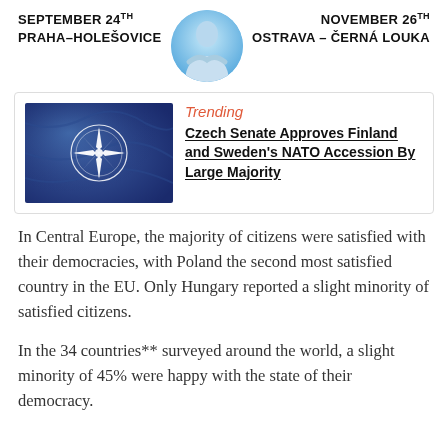SEPTEMBER 24th PRAHA-HOLEŠOVICE | NOVEMBER 26th OSTRAVA – ČERNÁ LOUKA
[Figure (photo): NATO flag with compass rose star symbol on blue draped fabric]
Trending
Czech Senate Approves Finland and Sweden's NATO Accession By Large Majority
In Central Europe, the majority of citizens were satisfied with their democracies, with Poland the second most satisfied country in the EU. Only Hungary reported a slight minority of satisfied citizens.
In the 34 countries** surveyed around the world, a slight minority of 45% were happy with the state of their democracy.